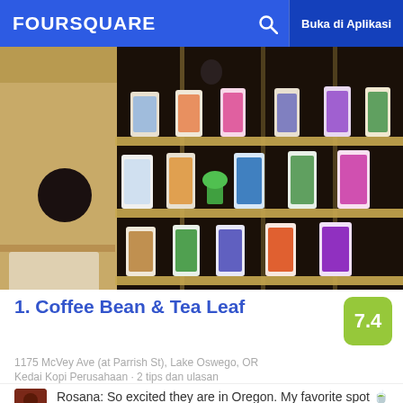FOURSQUARE   Buka di Aplikasi
[Figure (photo): Interior photo of a coffee/tea shop showing wooden shelves lined with colorful coffee and tea product packages]
1. Coffee Bean & Tea Leaf
1175 McVey Ave (at Parrish St), Lake Oswego, OR
Kedai Kopi Perusahaan · 2 tips dan ulasan
Rosana: So excited they are in Oregon. My favorite spot 🍵
[Figure (photo): Two food/drink photos at bottom of page - left shows a colorful salad dish, right shows a beverage]
7.4